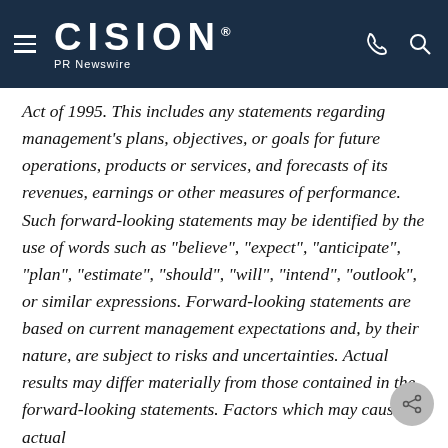CISION PR Newswire
Act of 1995.  This includes any statements regarding management's plans, objectives, or goals for future operations, products or services, and forecasts of its revenues, earnings or other measures of performance.  Such forward-looking statements may be identified by the use of words such as "believe", "expect", "anticipate", "plan", "estimate", "should", "will", "intend", "outlook", or similar expressions.  Forward-looking statements are based on current management expectations and, by their nature, are subject to risks and uncertainties.  Actual results may differ materially from those contained in the forward-looking statements.  Factors which may cause actual